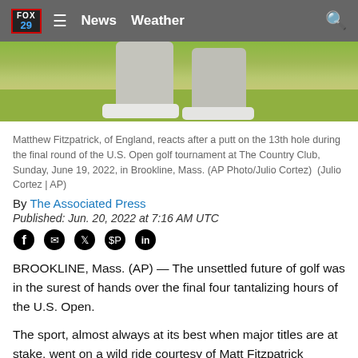FOX 29 | News  Weather
[Figure (photo): Partial view of a golfer's legs and shoes walking on a golf course green, with grass in background.]
Matthew Fitzpatrick, of England, reacts after a putt on the 13th hole during the final round of the U.S. Open golf tournament at The Country Club, Sunday, June 19, 2022, in Brookline, Mass. (AP Photo/Julio Cortez)  (Julio Cortez | AP)
By The Associated Press
Published: Jun. 20, 2022 at 7:16 AM UTC
BROOKLINE, Mass. (AP) — The unsettled future of golf was in the surest of hands over the final four tantalizing hours of the U.S. Open.
The sport, almost always at its best when major titles are at stake, went on a wild ride courtesy of Matt Fitzpatrick